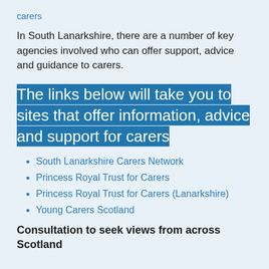carers
In South Lanarkshire, there are a number of key agencies involved who can offer support, advice and guidance to carers.
The links below will take you to sites that offer information, advice and support for carers
South Lanarkshire Carers Network
Princess Royal Trust for Carers
Princess Royal Trust for Carers (Lanarkshire)
Young Carers Scotland
Consultation to seek views from across Scotland